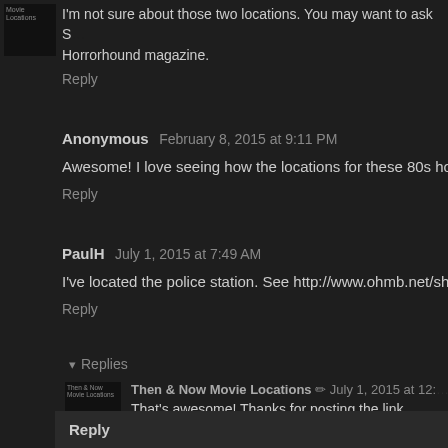[Figure (photo): Small avatar thumbnail, dark background with tiny text reading 'Movie Locations']
I'm not sure about those two locations. You may want to ask S... Horrorhound magazine.
Reply
Anonymous February 8, 2015 at 9:11 PM
Awesome! I love seeing how the locations for these 80s horror fi...
Reply
PaulH July 1, 2015 at 7:49 AM
I've located the police station. See http://www.ohmb.net/showthr...
Reply
▾ Replies
[Figure (photo): Then & Now Movie Locations avatar thumbnail]
Then & Now Movie Locations ✏ July 1, 2015 at 12:...
That's awesome! Thanks for posting the link PaulH.
Reply